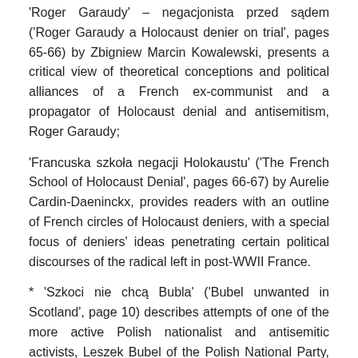'Roger Garaudy' – negacjonista przed sądem ('Roger Garaudy a Holocaust denier on trial', pages 65-66) by Zbigniew Marcin Kowalewski, presents a critical view of theoretical conceptions and political alliances of a French ex-communist and a propagator of Holocaust denial and antisemitism, Roger Garaudy;
'Francuska szkoła negacji Holokaustu' ('The French School of Holocaust Denial', pages 66-67) by Aurelie Cardin-Daeninckx, provides readers with an outline of French circles of Holocaust deniers, with a special focus of deniers' ideas penetrating certain political discourses of the radical left in post-WWII France.
* 'Szkoci nie chcą Bubla' ('Bubel unwanted in Scotland', page 10) describes attempts of one of the more active Polish nationalist and antisemitic activists, Leszek Bubel of the Polish National Party, to align himself with the Scottish National Party. After the 'NEVER AGAIN' editors' intervention with the British antifascist magazine 'Searchlight', Liz Lloyd